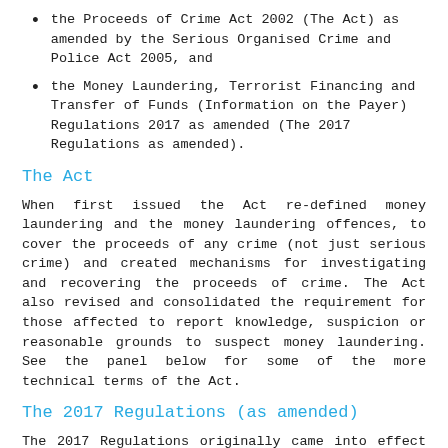the Proceeds of Crime Act 2002 (The Act) as amended by the Serious Organised Crime and Police Act 2005, and
the Money Laundering, Terrorist Financing and Transfer of Funds (Information on the Payer) Regulations 2017 as amended (The 2017 Regulations as amended).
The Act
When first issued the Act re-defined money laundering and the money laundering offences, to cover the proceeds of any crime (not just serious crime) and created mechanisms for investigating and recovering the proceeds of crime. The Act also revised and consolidated the requirement for those affected to report knowledge, suspicion or reasonable grounds to suspect money laundering. See the panel below for some of the more technical terms of the Act.
The 2017 Regulations (as amended)
The 2017 Regulations originally came into effect on 26 June 2017 and replaced the 2007 Regulations. They have